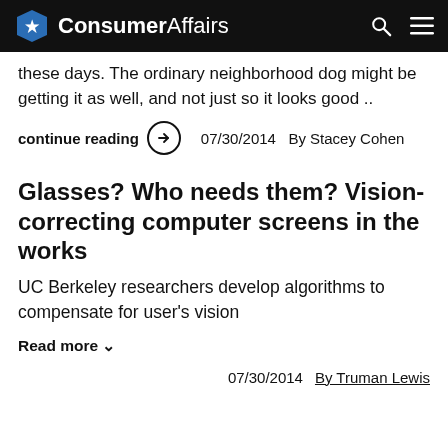ConsumerAffairs
these days. The ordinary neighborhood dog might be getting it as well, and not just so it looks good ..
continue reading → 07/30/2014 By Stacey Cohen
Glasses? Who needs them? Vision-correcting computer screens in the works
UC Berkeley researchers develop algorithms to compensate for user's vision
Read more ∨
07/30/2014 By Truman Lewis